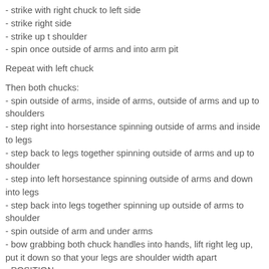- strike with right chuck to left side
- strike right side
- strike up t shoulder
- spin once outside of arms and into arm pit
Repeat with left chuck
Then both chucks:
- spin outside of arms, inside of arms, outside of arms and up to shoulders
- step right into horsestance spinning outside of arms and inside to legs
- step back to legs together spinning outside of arms and up to shoulder
- step into left horsestance spinning outside of arms and down into legs
- step back into legs together spinning up outside of arms to shoulder
- spin outside of arm and under arms
- bow grabbing both chuck handles into hands, lift right leg up, put it down so that your legs are shoulder width apart
- POSITION